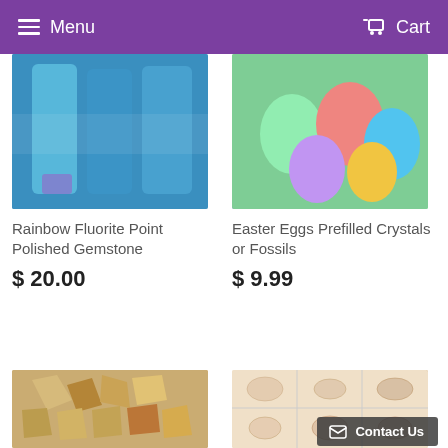Menu | Cart
[Figure (photo): Rainbow fluorite point polished gemstone - blue/teal colored crystal bottles]
[Figure (photo): Easter eggs prefilled with crystals or fossils - colorful plastic eggs in package]
Rainbow Fluorite Point Polished Gemstone
$ 20.00
Easter Eggs Prefilled Crystals or Fossils
$ 9.99
[Figure (photo): Raw opal gemstone pieces - rough brown and iridescent stones]
[Figure (photo): Shell or mineral specimens in grid display case with Contact Us button overlay]